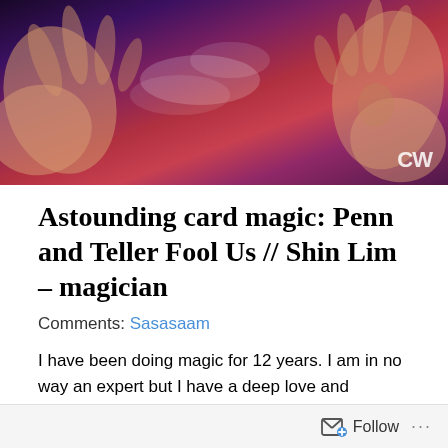[Figure (photo): A performer with hands raised near their face, blowing smoke or mist, with red and purple lighting background. The CW network logo appears in the bottom right corner.]
Astounding card magic: Penn and Teller Fool Us // Shin Lim – magician
Comments: Sasasaam
I have been doing magic for 12 years. I am in no way an expert but I have a deep love and appreciation for the art. And that. Was. Art. That is the card act that card magicians dream of in their wildest dreams. Sure, like P&T said, I caught a move or two. But I believe the mark of a
Follow ...